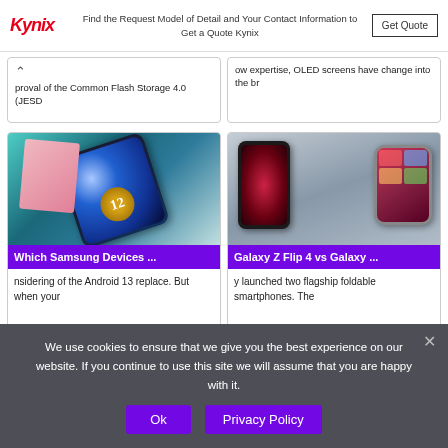[Figure (screenshot): Kynix advertisement banner with logo, text 'Find the Request Model of Detail and Your Contact Information to Get a Quote Kynix', and a 'Get Quote' button]
proval of the Common Flash Storage 4.0 (JESD
ow expertise, OLED screens have change into the br
[Figure (photo): Samsung phone with blue decorative screen showing number 12, on teal/pink background]
Which Samsung Devices ...
nsidering of the Android 13 replace. But when your
[Figure (photo): Two foldable Samsung Galaxy Z smartphones held in hands]
Galaxy Z Flip 4 vs Galaxy ...
y launched two flagship foldable smartphones. The
We use cookies to ensure that we give you the best experience on our website. If you continue to use this site we will assume that you are happy with it.
Ok
Privacy Policy